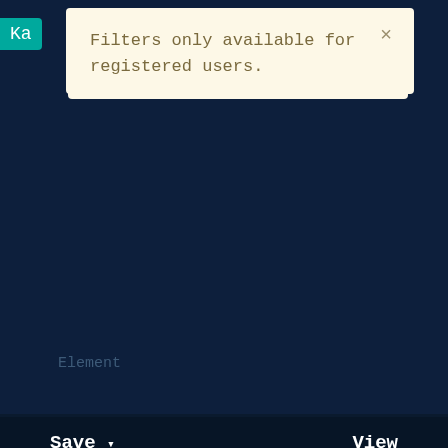Ka
Filters only available for registered users.
Element
Save ▾
View
□□□□□□□
Americium (Am)
Element